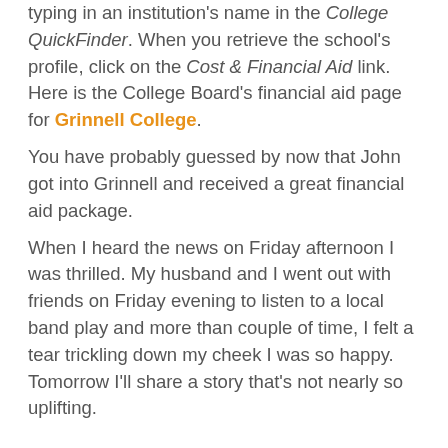typing in an institution's name in the College QuickFinder. When you retrieve the school's profile, click on the Cost & Financial Aid link. Here is the College Board's financial aid page for Grinnell College.
You have probably guessed by now that John got into Grinnell and received a great financial aid package.
When I heard the news on Friday afternoon I was thrilled. My husband and I went out with friends on Friday evening to listen to a local band play and more than couple of time, I felt a tear trickling down my cheek I was so happy. Tomorrow I'll share a story that's not nearly so uplifting.